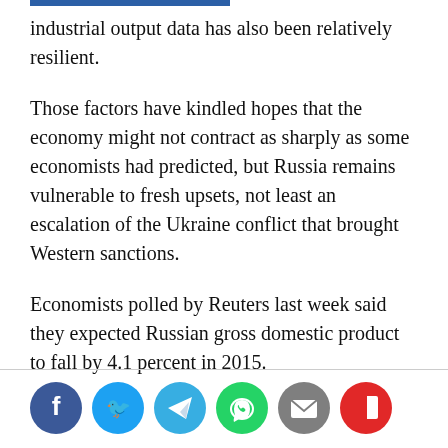industrial output data has also been relatively resilient.
Those factors have kindled hopes that the economy might not contract as sharply as some economists had predicted, but Russia remains vulnerable to fresh upsets, not least an escalation of the Ukraine conflict that brought Western sanctions.
Economists polled by Reuters last week said they expected Russian gross domestic product to fall by 4.1 percent in 2015.
[Figure (infographic): Social media share icons: Facebook, Twitter, Telegram, WhatsApp, Email, Flipboard]